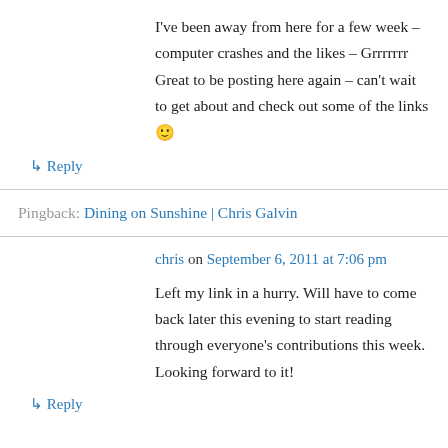I've been away from here for a few weeks – computer crashes and the likes – Grrrrrrr Great to be posting here again – can't wait to get about and check out some of the links 🙂
↳ Reply
Pingback: Dining on Sunshine | Chris Galvin
chris on September 6, 2011 at 7:06 pm
Left my link in a hurry. Will have to come back later this evening to start reading through everyone's contributions this week. Looking forward to it!
↳ Reply